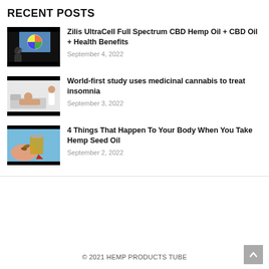RECENT POSTS
Zilis UltraCell Full Spectrum CBD Hemp Oil + CBD Oil + Health Benefits
September 4, 2022
World-first study uses medicinal cannabis to treat insomnia
September 3, 2022
4 Things That Happen To Your Body When You Take Hemp Seed Oil
September 2, 2022
© 2021 HEMP PRODUCTS TUBE